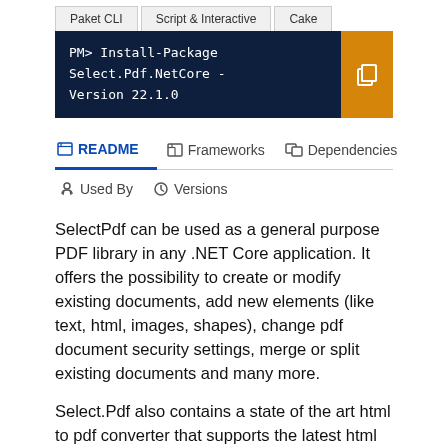Paket CLI	Script & Interactive	Cake
PM> Install-Package Select.Pdf.NetCore -Version 22.1.0
README	Frameworks	Dependencies	Used By	Versions
SelectPdf can be used as a general purpose PDF library in any .NET Core application. It offers the possibility to create or modify existing documents, add new elements (like text, html, images, shapes), change pdf document security settings, merge or split existing documents and many more.
Select.Pdf also contains a state of the art html to pdf converter that supports the latest html and css versions.